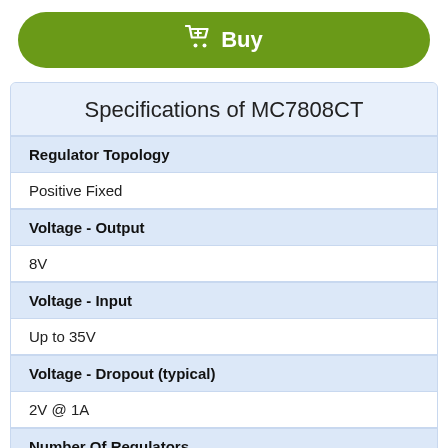[Figure (other): Green Buy button with shopping cart icon]
Specifications of MC7808CT
| Property | Value |
| --- | --- |
| Regulator Topology | Positive Fixed |
| Voltage - Output | 8V |
| Voltage - Input | Up to 35V |
| Voltage - Dropout (typical) | 2V @ 1A |
| Number Of Regulators | 1 |
| Current - Output |  |